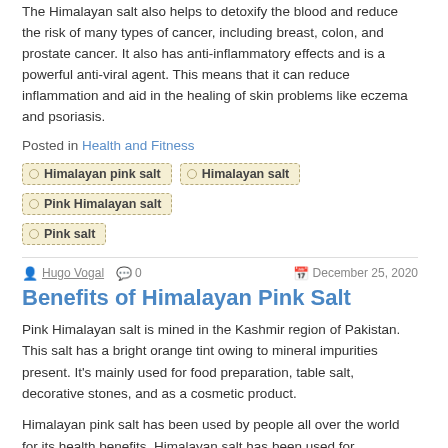The Himalayan salt also helps to detoxify the blood and reduce the risk of many types of cancer, including breast, colon, and prostate cancer. It also has anti-inflammatory effects and is a powerful anti-viral agent. This means that it can reduce inflammation and aid in the healing of skin problems like eczema and psoriasis.
Posted in Health and Fitness
Himalayan pink salt
Himalayan salt
Pink Himalayan salt
Pink salt
Hugo Vogal  0  December 25, 2020
Benefits of Himalayan Pink Salt
Pink Himalayan salt is mined in the Kashmir region of Pakistan. This salt has a bright orange tint owing to mineral impurities present. It's mainly used for food preparation, table salt, decorative stones, and as a cosmetic product.
Himalayan pink salt has been used by people all over the world for its health benefits. Himalayan salt has been used for thousands of years by the Indians to treat many conditions. They use it to treat the skin; it's a popular treatment for burns, abrasions, cuts, eczema, athlete's foot, cuts, and scrapes. It's also used to treat arthritis, gout, kidney stones, liver disease, and even as an antibiotic. The healing properties of Himalayan pink salt make it ideal as an antiseptic.